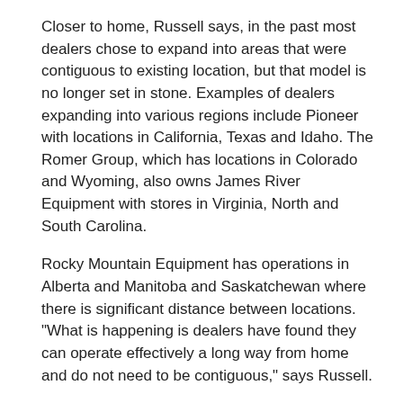Closer to home, Russell says, in the past most dealers chose to expand into areas that were contiguous to existing location, but that model is no longer set in stone. Examples of dealers expanding into various regions include Pioneer with locations in California, Texas and Idaho. The Romer Group, which has locations in Colorado and Wyoming, also owns James River Equipment with stores in Virginia, North and South Carolina.
Rocky Mountain Equipment has operations in Alberta and Manitoba and Saskatchewan where there is significant distance between locations. "What is happening is dealers have found they can operate effectively a long way from home and do not need to be contiguous," says Russell.
They're also diversifying their business and moving more heavily into construction equipment, compact construction machinery, outdoor power equipment, over-the-road trucks and in some case industrial machinery, like fork lift trucks.
According to Russell, the industry is also seeing increased globalization in the manufacturing sector of the industry. Thanks